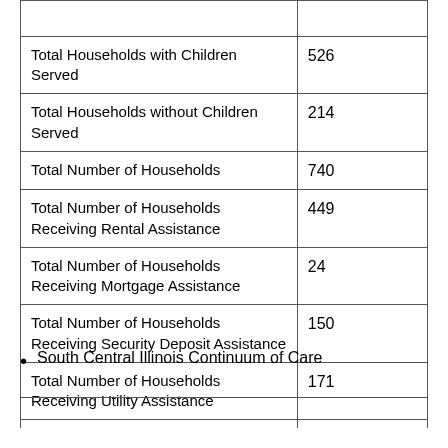| Category | Number |
| --- | --- |
| [partial row cut off] |  |
| Total Households with Children Served | 526 |
| Total Households without Children Served | 214 |
| Total Number of Households | 740 |
| Total Number of Households Receiving Rental Assistance | 449 |
| Total Number of Households Receiving Mortgage Assistance | 24 |
| Total Number of Households Receiving Security Deposit Assistance | 150 |
| Total Number of Households Receiving Utility Assistance | 171 |
South Central Illinois Continuum of Care
| Category | Number |
| --- | --- |
| [partial row cut off at bottom] |  |